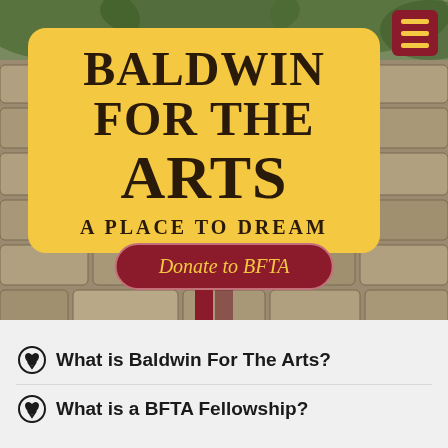[Figure (photo): Outdoor stone wall background with greenery, serving as hero banner background for Baldwin For The Arts website]
BALDWIN FOR THE ARTS
A PLACE TO DREAM
Donate to BFTA
What is Baldwin For The Arts?
What is a BFTA Fellowship?